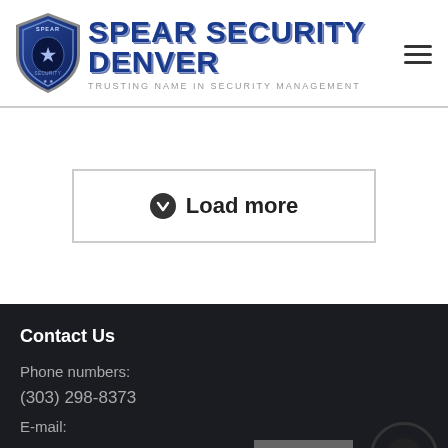[Figure (logo): Spear Security Denver logo with shield emblem and company name]
Load more
Contact Us
Phone numbers:
(303) 298-8373
E-mail:
Call Now